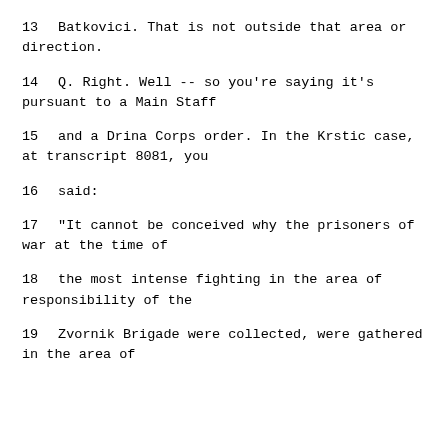13    Batkovici.  That is not outside that area or direction.
14        Q.   Right.  Well -- so you're saying it's pursuant to a Main Staff
15     and a Drina Corps order.  In the Krstic case, at transcript 8081, you
16     said:
17              "It cannot be conceived why the prisoners of war at the time of
18     the most intense fighting in the area of responsibility of the
19     Zvornik Brigade were collected, were gathered in the area of